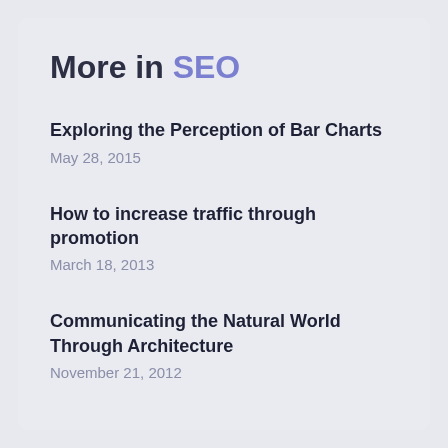More in SEO
Exploring the Perception of Bar Charts
May 28, 2015
How to increase traffic through promotion
March 18, 2013
Communicating the Natural World Through Architecture
November 21, 2012